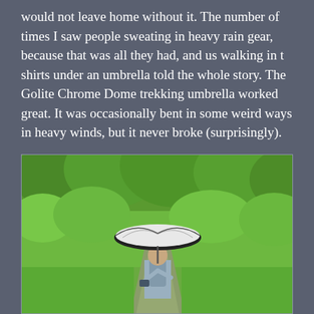would not leave home without it. The number of times I saw people sweating in heavy rain gear, because that was all they had, and us walking in t shirts under an umbrella told the whole story. The Golite Chrome Dome trekking umbrella worked great. It was occasionally bent in some weird ways in heavy winds, but it never broke (surprisingly).
[Figure (photo): A person walking on a green forested trail carrying a large black and white trekking umbrella, wearing a grey backpack. Lush green trees and bushes surround the path.]